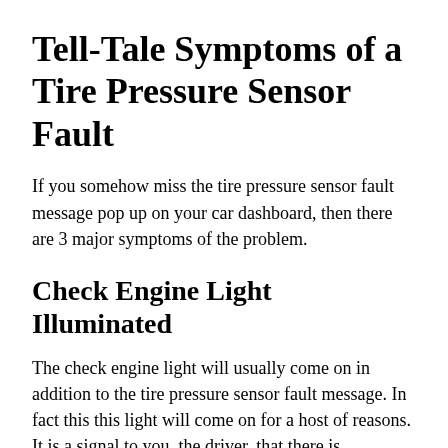Tell-Tale Symptoms of a Tire Pressure Sensor Fault
If you somehow miss the tire pressure sensor fault message pop up on your car dashboard, then there are 3 major symptoms of the problem.
Check Engine Light Illuminated
The check engine light will usually come on in addition to the tire pressure sensor fault message. In fact this this light will come on for a host of reasons. It is a signal to you, the driver, that there is something wrong with your car that needs to be fixed.
(truncated text continues below)